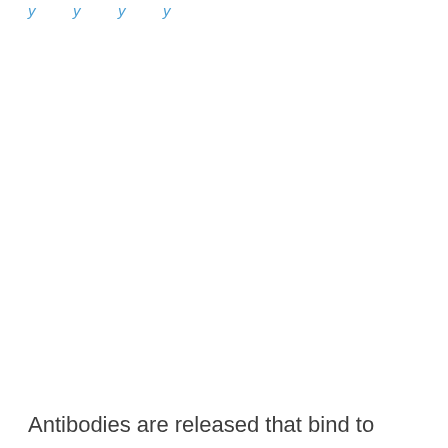y       y       y       y
Antibodies are released that bind to